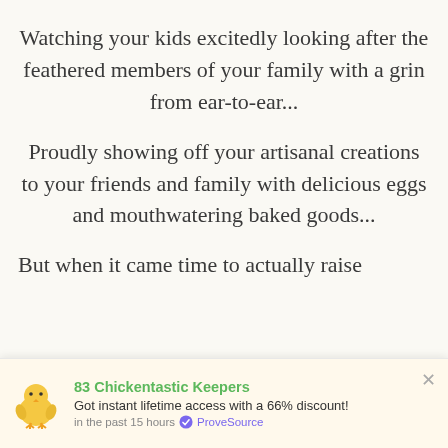Watching your kids excitedly looking after the feathered members of your family with a grin from ear-to-ear...
Proudly showing off your artisanal creations to your friends and family with delicious eggs and mouthwatering baked goods...
But when it came time to actually raise
[Figure (illustration): Yellow chick emoji/icon]
83 Chickentastic Keepers
Got instant lifetime access with a 66% discount!
in the past 15 hours ✔ ProveSource